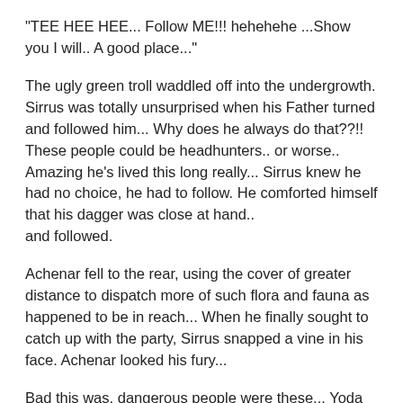"TEE HEE HEE... Follow ME!!! hehehehe ...Show you I will.. A good place..."
The ugly green troll waddled off into the undergrowth. Sirrus was totally unsurprised when his Father turned and followed him... Why does he always do that??!! These people could be headhunters.. or worse.. Amazing he's lived this long really... Sirrus knew he had no choice, he had to follow. He comforted himself that his dagger was close at hand..
and followed.
Achenar fell to the rear, using the cover of greater distance to dispatch more of such flora and fauna as happened to be in reach... When he finally sought to catch up with the party, Sirrus snapped a vine in his face. Achenar looked his fury...
Bad this was, dangerous people were these... Yoda watched Atrus pick his way carefully and quickly through the swamp. The Jedi master read what he could of this quick stranger. This one.. many places has he been... star traveler. The way he held himself... like Obi-wan.. From a desert home he came.. yet wise already to the ways this world. Yoda deliberately quickened his pace, but found he could only slow his pursuer a little bit. Only by using the force could he